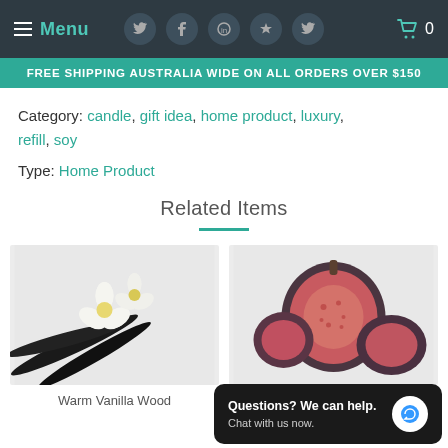Menu | FREE SHIPPING AUSTRALIA WIDE ON ALL ORDERS OVER $150
Category: candle, gift idea, home product, luxury, refill, soy
Type: Home Product
Related Items
[Figure (photo): Warm Vanilla Wood product image showing vanilla flowers and pods on grey background]
Warm Vanilla Wood
[Figure (photo): Amber and Burnt Fig product image showing sliced figs on grey background]
Amber and Burnt Fig